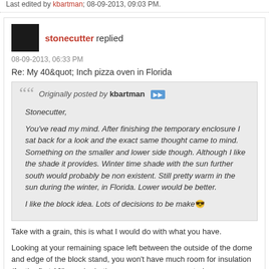Last edited by kbartman; 08-09-2013, 09:03 PM.
stonecutter replied
08-09-2013, 06:33 PM
Re: My 40&quot; Inch pizza oven in Florida
Originally posted by kbartman
Stonecutter,

You've read my mind. After finishing the temporary enclosure I sat back for a look and the exact same thought came to mind. Something on the smaller and lower side though. Although I like the shade it provides. Winter time shade with the sun further south would probably be non existent. Still pretty warm in the sun during the winter, in Florida. Lower would be better.

I like the block idea. Lots of decisions to be make😎
Take with a grain, this is what I would do with what you have.
Looking at your remaining space left between the outside of the dome and edge of the block stand, you won't have much room for insulation (for the first 12" or so) whether you use masonry or studs.